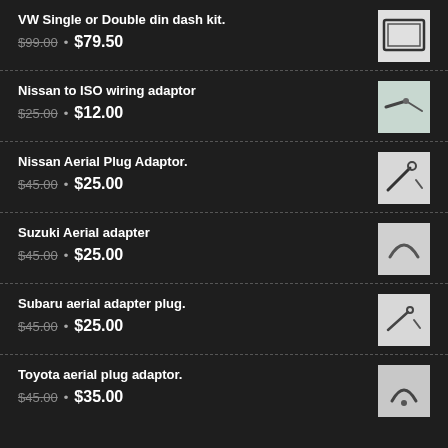VW Single or Double din dash kit. $99.00 • $79.50
Nissan to ISO wiring adaptor $25.00 • $12.00
Nissan Aerial Plug Adaptor. $45.00 • $25.00
Suzuki Aerial adapter $45.00 • $25.00
Subaru aerial adapter plug. $45.00 • $25.00
Toyota aerial plug adaptor. $45.00 • $35.00